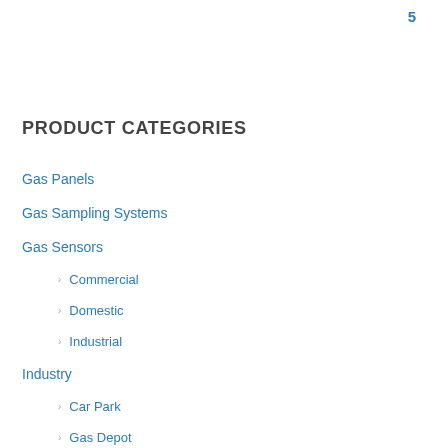5
PRODUCT CATEGORIES
Gas Panels
Gas Sampling Systems
Gas Sensors
Commercial
Domestic
Industrial
Industry
Car Park
Gas Depot
Hospitality